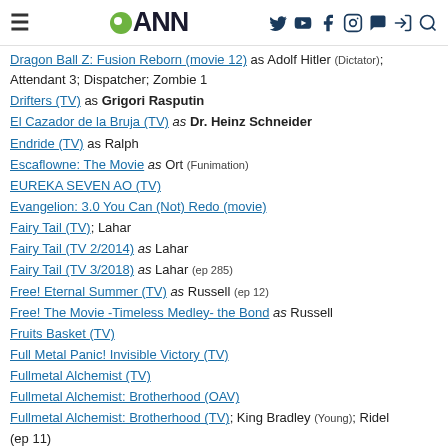ANN (Anime News Network) navigation header
Dragon Ball Z: Fusion Reborn (movie 12) as Adolf Hitler (Dictator); Attendant 3; Dispatcher; Zombie 1
Drifters (TV) as Grigori Rasputin
El Cazador de la Bruja (TV) as Dr. Heinz Schneider
Endride (TV) as Ralph
Escaflowne: The Movie as Ort (Funimation)
EUREKA SEVEN AO (TV)
Evangelion: 3.0 You Can (Not) Redo (movie)
Fairy Tail (TV); Lahar
Fairy Tail (TV 2/2014) as Lahar
Fairy Tail (TV 3/2018) as Lahar (ep 285)
Free! Eternal Summer (TV) as Russell (ep 12)
Free! The Movie -Timeless Medley- the Bond as Russell
Fruits Basket (TV)
Full Metal Panic! Invisible Victory (TV)
Fullmetal Alchemist (TV)
Fullmetal Alchemist: Brotherhood (OAV)
Fullmetal Alchemist: Brotherhood (TV); King Bradley (Young); Ridel (ep 11)
Fullmetal Alchemist: Chibi Party (OAV)
Fullmetal Alchemist: Premium Collection (OAV)